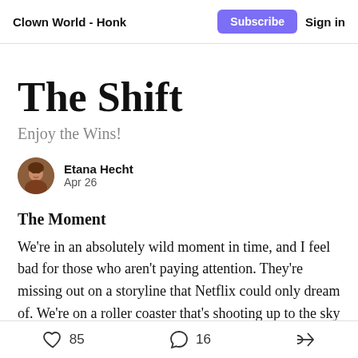Clown World - Honk | Subscribe | Sign in
The Shift
Enjoy the Wins!
Etana Hecht
Apr 26
The Moment
We're in an absolutely wild moment in time, and I feel bad for those who aren't paying attention. They're missing out on a storyline that Netflix could only dream of. We're on a roller coaster that's shooting up to the sky
85 likes | 16 comments | share